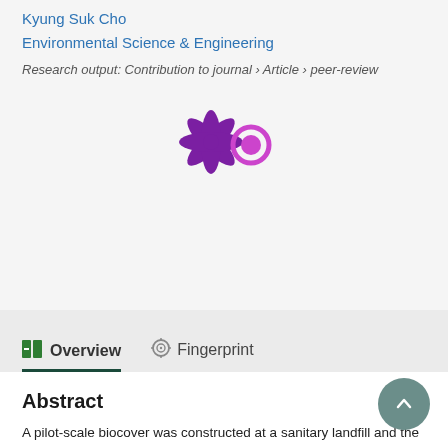Kyung Suk Cho
Environmental Science & Engineering
Research output: Contribution to journal › Article › peer-review
[Figure (logo): Altmetric-style logo with purple starburst shape and magenta/purple circle on right]
Overview
Fingerprint
Abstract
A pilot-scale biocover was constructed at a sanitary landfill and the mitigation of methane and odor compounds was compared between the summer and non-summer seasons. The average